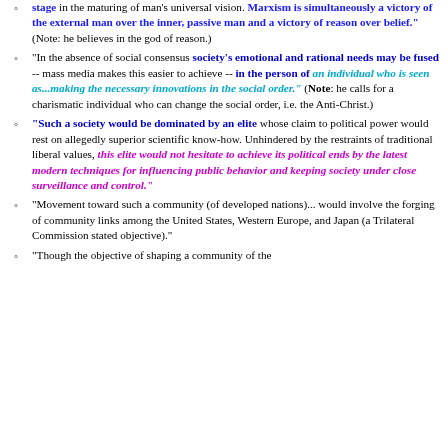stage in the maturing of man's universal vision. Marxism is simultaneously a victory of the external man over the inner, passive man and a victory of reason over belief." (Note: he believes in the god of reason.)
"In the absence of social consensus society's emotional and rational needs may be fused -- mass media makes this easier to achieve -- in the person of an individual who is seen as...making the necessary innovations in the social order." (Note: he calls for a charismatic individual who can change the social order, i.e. the Anti-Christ.)
"Such a society would be dominated by an elite whose claim to political power would rest on allegedly superior scientific know-how. Unhindered by the restraints of traditional liberal values, this elite would not hesitate to achieve its political ends by the latest modern techniques for influencing public behavior and keeping society under close surveillance and control."
"Movement toward such a community (of developed nations)... would involve the forging of community links among the United States, Western Europe, and Japan (a Trilateral Commission stated objective)."
"Though the objective of shaping a community of the developed nations is desirable...